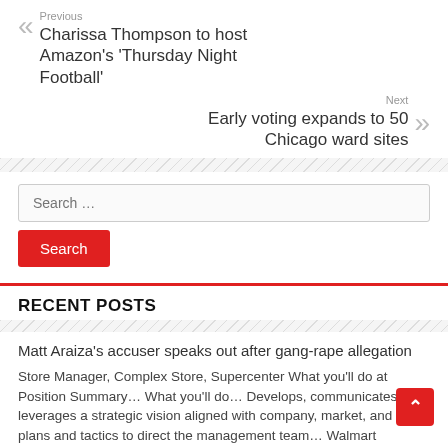Previous
Charissa Thompson to host Amazon's 'Thursday Night Football'
Next
Early voting expands to 50 Chicago ward sites
Search …
Search
RECENT POSTS
Matt Araiza's accuser speaks out after gang-rape allegation
Store Manager, Complex Store, Supercenter What you'll do at Position Summary… What you'll do… Develops, communicates, and leverages a strategic vision aligned with company, market, and local plans and tactics to direct the management team… Walmart Beaumont, CA, United States 1 day ago